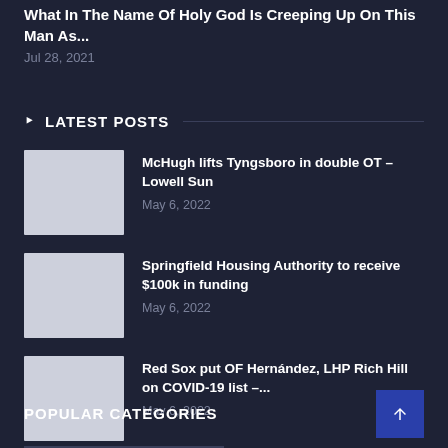What In The Name Of Holy God Is Creeping Up On This Man As...
Jul 28, 2021
LATEST POSTS
McHugh lifts Tyngsboro in double OT – Lowell Sun
May 6, 2022
Springfield Housing Authority to receive $100k in funding
May 6, 2022
Red Sox put OF Hernández, LHP Rich Hill on COVID-19 list –...
May 6, 2022
POPULAR CATEGORIES